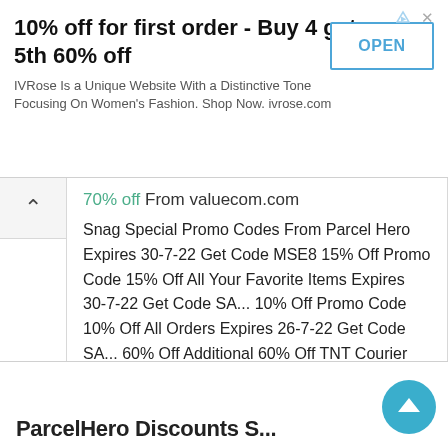[Figure (screenshot): Advertisement banner for IVRose: '10% off for first order - Buy 4 get 5th 60% off' with an OPEN button]
70% off From valuecom.com
Snag Special Promo Codes From Parcel Hero Expires 30-7-22 Get Code MSE8 15% Off Promo Code 15% Off All Your Favorite Items Expires 30-7-22 Get Code SA... 10% Off Promo Code 10% Off All Orders Expires 26-7-22 Get Code SA... 60% Off Additional 60% Off TNT Courier Services At Parcel Hero Expires 5-8-22 Get Deal 70% Off ParcelHero Save 70% ...
Get Code 70
ParcelHero Discounts S...